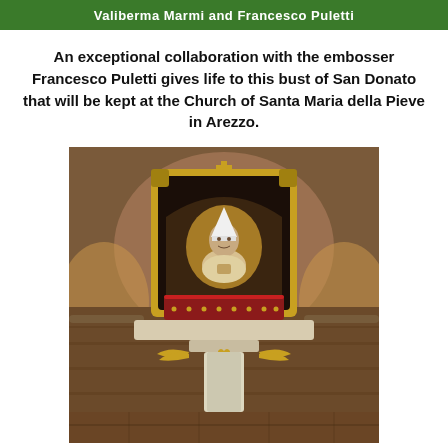Valiberma Marmi and Francesco Puletti
An exceptional collaboration with the embosser Francesco Puletti gives life to this bust of San Donato that will be kept at the Church of Santa Maria della Pieve in Arezzo.
[Figure (photo): Photograph of a bust of San Donato encased in an ornate golden reliquary frame with arch, displayed on a stone altar pedestal decorated with golden wings emblem, set within a stone vaulted chapel interior with warm ambient lighting.]